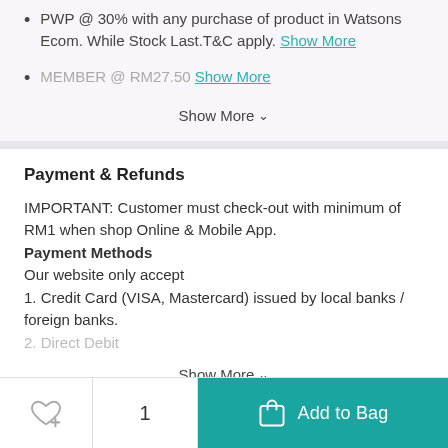PWP @ 30% with any purchase of product in Watsons Ecom. While Stock Last.T&C apply. Show More
MEMBER @ RM27.50 Show More
Show More
Payment & Refunds
IMPORTANT: Customer must check-out with minimum of RM1 when shop Online & Mobile App.
Payment Methods
Our website only accept
1. Credit Card (VISA, Mastercard) issued by local banks / foreign banks.
2. Direct Debit
Show More
REVIEWS
1
Add to Bag